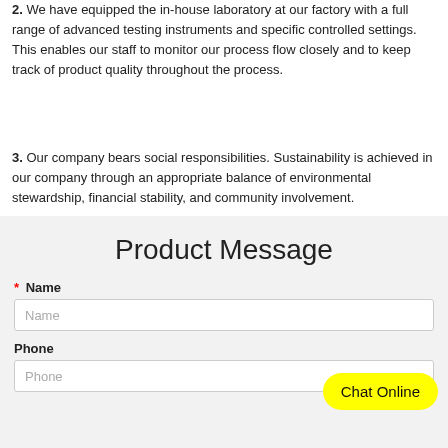2. We have equipped the in-house laboratory at our factory with a full range of advanced testing instruments and specific controlled settings. This enables our staff to monitor our process flow closely and to keep track of product quality throughout the process.
3. Our company bears social responsibilities. Sustainability is achieved in our company through an appropriate balance of environmental stewardship, financial stability, and community involvement.
Product Message
* Name
Name (placeholder)
Phone
Phone (placeholder)
Chat Online